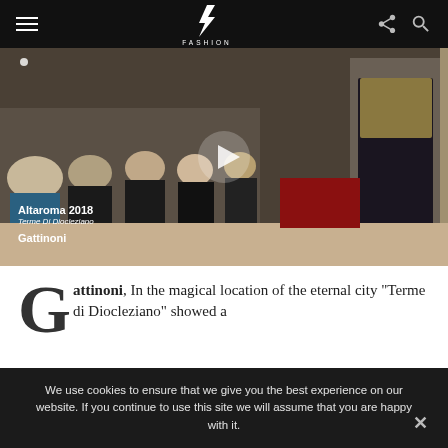FASHION (logo navigation bar)
[Figure (screenshot): Video thumbnail of Altaroma 2018 fashion show at Terme Di Diocleziano, Gattinoni. Audience seated, model in dark gown visible on right. White play button overlay in center.]
Altaroma 2018
Terme Di Diocleziano
Gattinoni
Gattinoni, In the magical location of the eternal city “Terme di Diocleziano” showed a
We use cookies to ensure that we give you the best experience on our website. If you continue to use this site we will assume that you are happy with it.